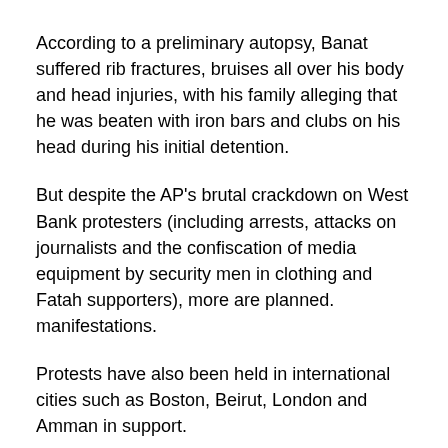According to a preliminary autopsy, Banat suffered rib fractures, bruises all over his body and head injuries, with his family alleging that he was beaten with iron bars and clubs on his head during his initial detention.
But despite the AP’s brutal crackdown on West Bank protesters (including arrests, attacks on journalists and the confiscation of media equipment by security men in clothing and Fatah supporters), more are planned. manifestations.
Protests have also been held in international cities such as Boston, Beirut, London and Amman in support.
Shawan Jabarin, director of the human rights organization Al-Haq, in Ramallah [Al Jazeera]
Jabarin said this time he thought the situation in the West Bank was different as people got more and more tired of the